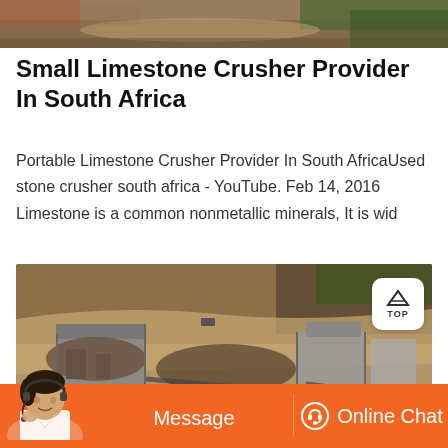[Figure (photo): Aerial view of a limestone quarry or mining site with rocky terrain and machinery, partially cropped at top]
Small Limestone Crusher Provider In South Africa
Portable Limestone Crusher Provider In South AfricaUsed stone crusher south africa - YouTube. Feb 14, 2016 Limestone is a common nonmetallic minerals, It is wid
[Figure (photo): Aerial photo of a large limestone crusher facility with industrial buildings, conveyor belts, and rocky hillside excavation]
Message
Online Chat